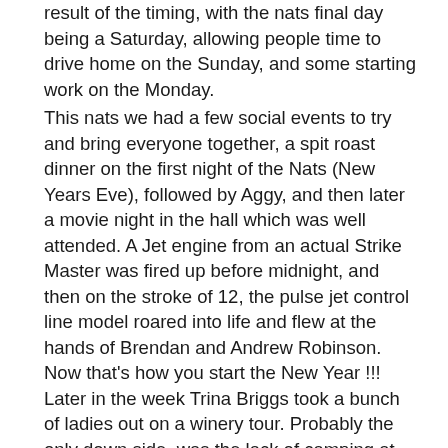result of the timing, with the nats final day being a Saturday, allowing people time to drive home on the Sunday, and some starting work on the Monday.
This nats we had a few social events to try and bring everyone together, a spit roast dinner on the first night of the Nats (New Years Eve), followed by Aggy, and then later a movie night in the hall which was well attended. A Jet engine from an actual Strike Master was fired up before midnight, and then on the stroke of 12, the pulse jet control line model roared into life and flew at the hands of Brendan and Andrew Robinson. Now that’s how you start the New Year !!! Later in the week Trina Briggs took a bunch of ladies out on a winery tour. Probably the only down side, was the lack of camping at the nats, nothing like it used to be, the northern powered end of the campsite was pretty much empty, other than a few “Boomers”. The area under the trees in the non powered section was not too bad, but definitely less than the usual. I think the avg age now makes the “motel” option look too good for some. We setup by “Lake Clareville”, and for the first time in a while, went home with a tent fully in tact, no broken